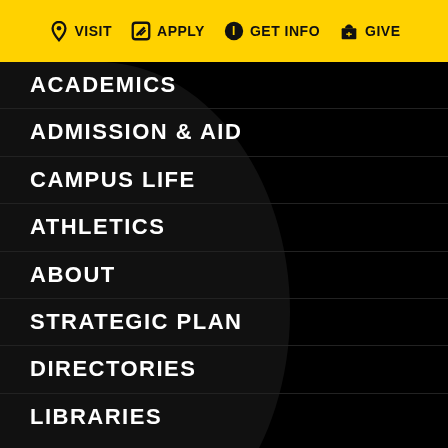VISIT  APPLY  GET INFO  GIVE
ACADEMICS
ADMISSION & AID
CAMPUS LIFE
ATHLETICS
ABOUT
STRATEGIC PLAN
DIRECTORIES
LIBRARIES